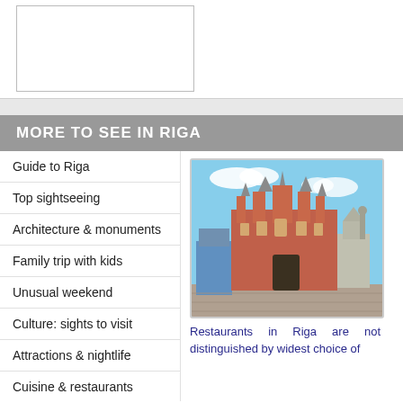[Figure (photo): Empty white box with gray border]
MORE TO SEE IN RIGA
Guide to Riga
Top sightseeing
Architecture & monuments
Family trip with kids
Unusual weekend
Culture: sights to visit
Attractions & nightlife
Cuisine & restaurants
[Figure (photo): Photo of the House of the Blackheads in Riga, a historic ornate red brick building with Gothic architecture in a town square]
Restaurants in Riga are not distinguished by widest choice of